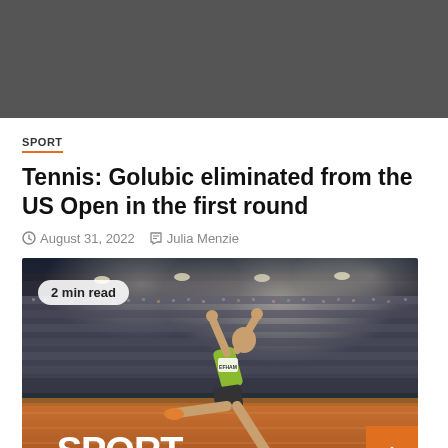[Figure (photo): Dark gray banner image at top of page]
SPORT
Tennis: Golubic eliminated from the US Open in the first round
August 31, 2022   Julia Menzie
[Figure (photo): Photo of an athlete performing a long jump at a stadium at night, with crowd in background. Badge showing '2 min read'. RF SPORT logo overlay at bottom left. Orange scroll-to-top button at bottom right.]